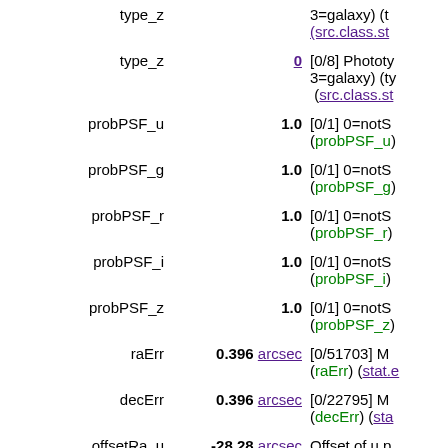| Name | Value | Description |
| --- | --- | --- |
| type_z (partial top) | 0 | [0/8] Phototy... 3=galaxy) (t... (src.class.st... |
| type_z | 0 | [0/8] Phototy... 3=galaxy) (ty... (src.class.st... |
| probPSF_u | 1.0 | [0/1] 0=notS... (probPSF_u) |
| probPSF_g | 1.0 | [0/1] 0=notS... (probPSF_g) |
| probPSF_r | 1.0 | [0/1] 0=notS... (probPSF_r) |
| probPSF_i | 1.0 | [0/1] 0=notS... (probPSF_i) |
| probPSF_z | 1.0 | [0/1] 0=notS... (probPSF_z) |
| raErr | 0.396 arcsec | [0/51703] M... (raErr) (stat.e... |
| decErr | 0.396 arcsec | [0/22795] M... (decErr) (sta... |
| offsetRa_u | -28.28 arcsec | Offset of u p... (offsetRa_u) |
| offsetRa_g | -28.89 arcsec | Offset of g p... (offsetRa_g) |